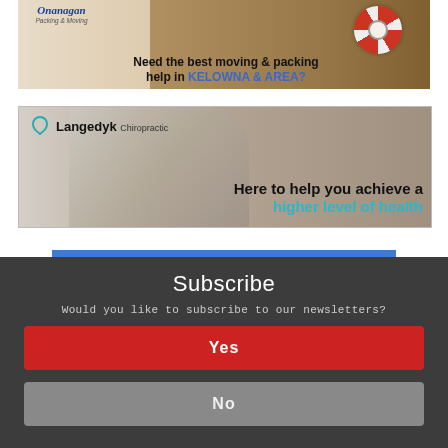[Figure (illustration): Okanagan Packing & Moving advertisement banner with logo and tape roll image. Text: Need the best moving & packing help in KELOWNA & AREA?]
[Figure (illustration): Langedyk Chiropractic advertisement banner with logo showing teal heart icon and chiropractor image. Text: Here to help you achieve a higher level of health]
Subscribe
Would you like to subscribe to our newsletters?
Yes
No